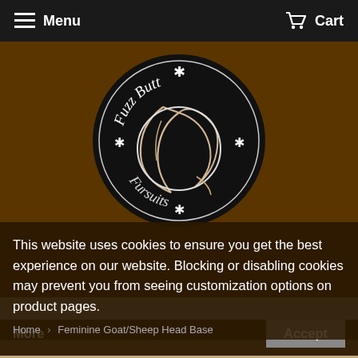Menu  Cart
[Figure (logo): Fuzz Butt Fursuits circular logo — black circle with white crescent moon feather design and text 'Fuzz Butt Fursuits' arranged in a circle with asterisk decorations]
This website uses cookies to ensure you get the best experience on our website. Blocking or disabling cookies may prevent you from seeing customization options on product pages.
More
Accept
Home › Feminine Goat/Sheep Head Base